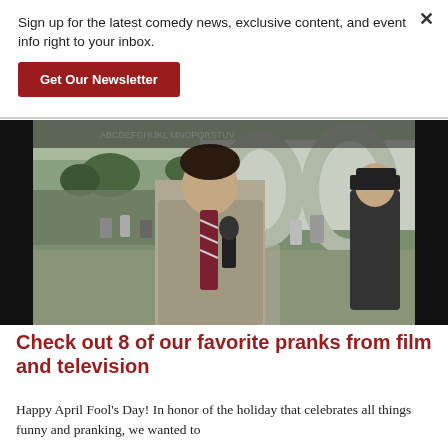Sign up for the latest comedy news, exclusive content, and event info right to your inbox.
Get Our Newsletter
[Figure (photo): A man in a grey blazer and striped tie holding a microphone outdoors at a large public gathering, with crowds, green lawn, and arched buildings in the background. Another person stands behind him.]
Check out 8 of our favorite pranks from film and television
Happy April Fool's Day! In honor of the holiday that celebrates all things funny and pranking, we wanted to